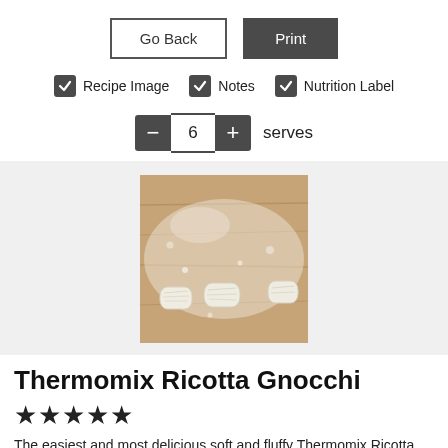[Figure (screenshot): Go Back and Print buttons at the top of a recipe print page]
✓ Recipe Image   ✓ Notes   ✓ Nutrition Label
− 6 + serves
[Figure (photo): Photo of gnocchi pieces dusted with flour on a wooden surface]
Thermomix Ricotta Gnocchi
★★★★★
The easiest and most delicious soft and fluffy Thermomix Ricotta